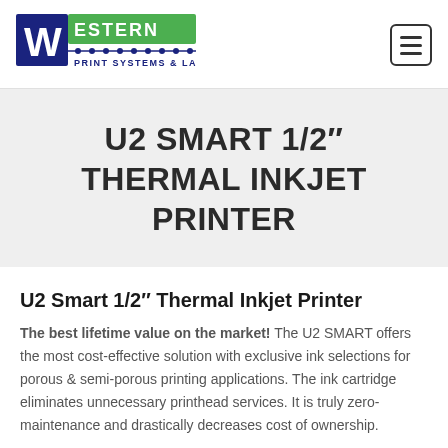Western Print Systems & Labels
U2 SMART 1/2" THERMAL INKJET PRINTER
U2 Smart 1/2" Thermal Inkjet Printer
The best lifetime value on the market! The U2 SMART offers the most cost-effective solution with exclusive ink selections for porous & semi-porous printing applications. The ink cartridge eliminates unnecessary printhead services. It is truly zero-maintenance and drastically decreases cost of ownership.